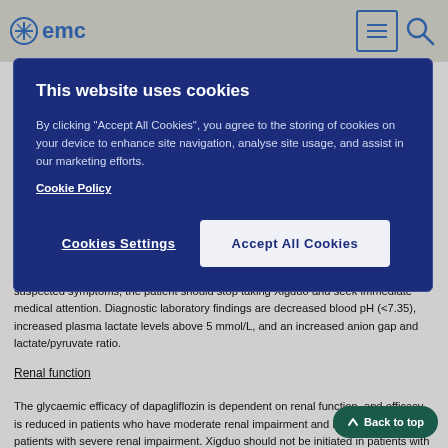emc
[Figure (screenshot): Cookie consent banner with dark blue background. Title: 'This website uses cookies'. Body text: 'By clicking "Accept All Cookies", you agree to the storing of cookies on your device to enhance site navigation, analyse site usage, and assist in our marketing efforts. Cookie Policy'. Buttons: 'Cookies Settings' and 'Accept All Cookies'.]
suspected symptoms, the patient should stop taking Xigduo and seek immediate medical attention. Diagnostic laboratory findings are decreased blood pH (<7.35), increased plasma lactate levels above 5 mmol/L, and an increased anion gap and lactate/pyruvate ratio.
Renal function
The glycaemic efficacy of dapagliflozin is dependent on renal function, and efficacy is reduced in patients who have moderate renal impairment and is likely absent in patients with severe renal impairment. Xigduo should not be initiated in patients with GFR < 60 mL/min and should be discontinued at GFR persistently below 45 mL/min (see section 4.2).
Metformin is excreted by the kidney, and moderate to severe renal